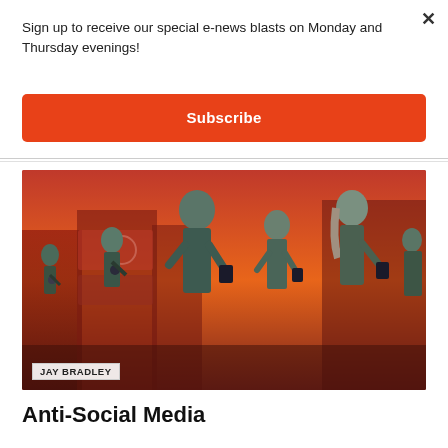Sign up to receive our special e-news blasts on Monday and Thursday evenings!
Subscribe
[Figure (illustration): Illustration by Jay Bradley showing zombie-like people hunched over smartphones in front of red-tinted cityscapes with Apple store signage]
JAY BRADLEY
Anti-Social Media